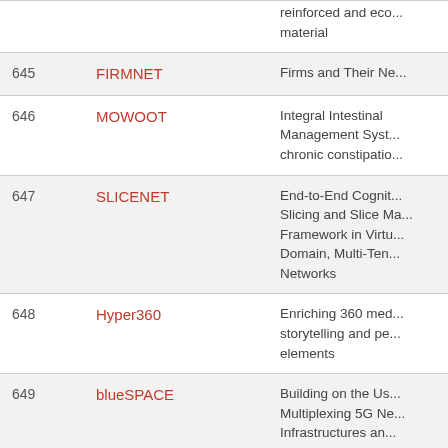| # | Name | Description |
| --- | --- | --- |
|  |  | reinforced and eco... material |
| 645 | FIRMNET | Firms and Their Ne... |
| 646 | MOWOOT | Integral Intestinal Management Syst... chronic constipatio... |
| 647 | SLICENET | End-to-End Cognit... Slicing and Slice Ma... Framework in Virtu... Domain, Multi-Ten... Networks |
| 648 | Hyper360 | Enriching 360 med... storytelling and pe... elements |
| 649 | blueSPACE | Building on the Us... Multiplexing 5G Ne... Infrastructures an... |